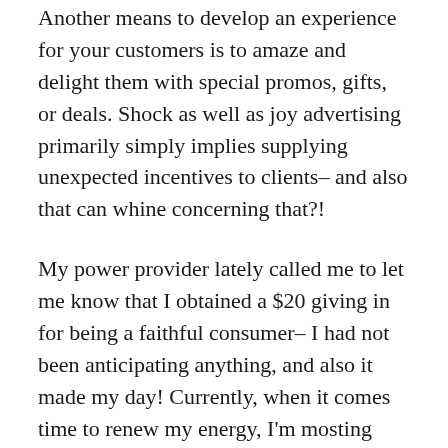Another means to develop an experience for your customers is to amaze and delight them with special promos, gifts, or deals. Shock as well as joy advertising primarily simply implies supplying unexpected incentives to clients– and also that can whine concerning that?!
My power provider lately called me to let me know that I obtained a $20 giving in for being a faithful consumer– I had not been anticipating anything, and also it made my day! Currently, when it comes time to renew my energy, I'm mosting likely to be much less likely to switch over because I have this link with my existing company.
Developing a delighted consumer by doing this